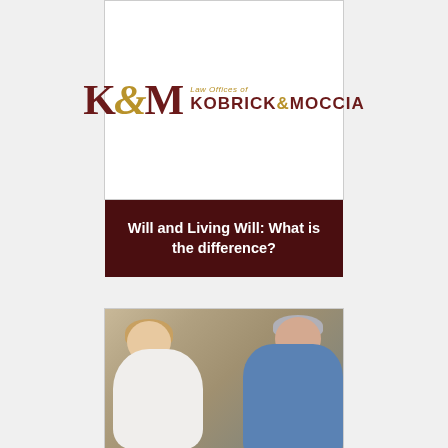[Figure (logo): Law Offices of Kobrick & Moccia logo with stylized K&M monogram in dark red and gold]
Will and Living Will: What is the difference?
[Figure (photo): Photo of a nurse or caregiver speaking with an elderly woman, both looking at each other]